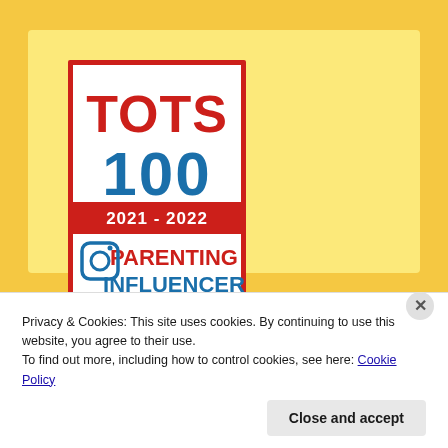[Figure (logo): TOTS 100 2021-2022 Parenting Influencer badge. White background with red border. Top section: 'TOTS' in bold red text, '100' in bold blue text. Red banner: '2021 - 2022' in white. Bottom section: Instagram logo icon in blue on the left, 'PARENTING INFLUENCER' text in bold with 'PARENTING' in red and 'INFLUENCER' in blue.]
Privacy & Cookies: This site uses cookies. By continuing to use this website, you agree to their use.
To find out more, including how to control cookies, see here: Cookie Policy
Close and accept